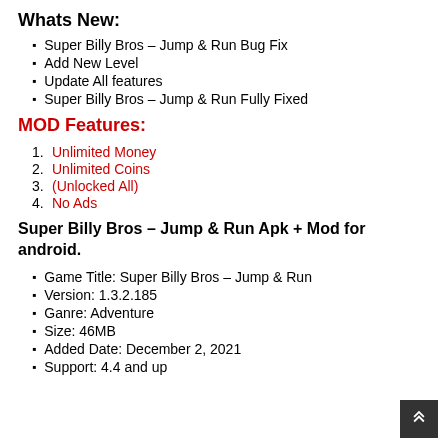Whats New:
Super Billy Bros – Jump & Run Bug Fix
Add New Level
Update All features
Super Billy Bros – Jump & Run Fully Fixed
MOD Features:
Unlimited Money
Unlimited Coins
(Unlocked All)
No Ads
Super Billy Bros – Jump & Run Apk + Mod for android.
Game Title: Super Billy Bros – Jump & Run
Version: 1.3.2.185
Ganre: Adventure
Size: 46MB
Added Date: December 2, 2021
Support: 4.4 and up